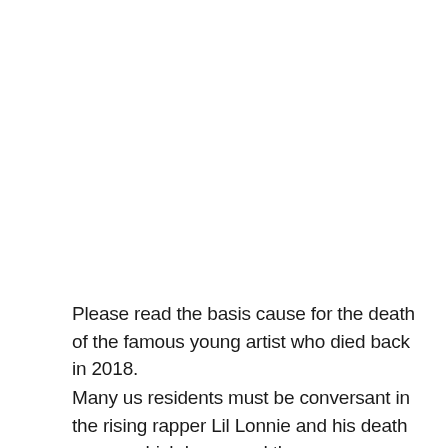Please read the basis cause for the death of the famous young artist who died back in 2018.
Many us residents must be conversant in the rising rapper Lil Lonnie and his death cause, which happened three years ago. Nevertheless,